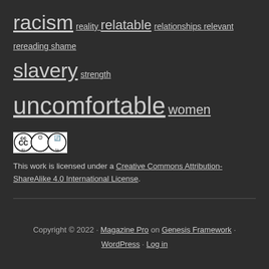racism reality relatable relationships relevant rereading shame slavery strength uncomfortable women
[Figure (logo): Creative Commons CC BY SA logo badge]
This work is licensed under a Creative Commons Attribution-ShareAlike 4.0 International License.
Copyright © 2022 · Magazine Pro on Genesis Framework · WordPress · Log in